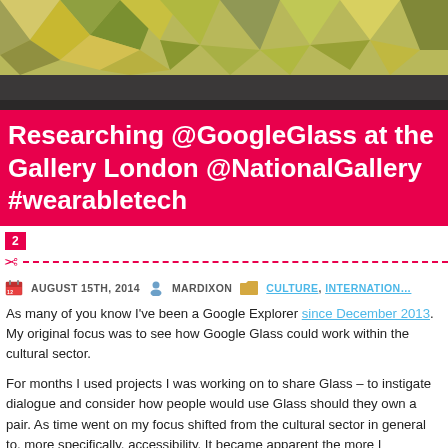[Figure (illustration): Colorful geometric mosaic/polygon pattern header image with dark gray bar at bottom]
Researching @GoogleGlass at the Gallery London @NationalGallery #wearabletech
2
AUGUST 15TH, 2014   MARDIXON   CULTURE, INTERNATIONAL
As many of you know I've been a Google Explorer since December 2013. My original focus was to see how Google Glass could work within the cultural sector.
For months I used projects I was working on to share Glass – to instigate dialogue and consider how people would use Glass should they own a pair. As time went on my focus shifted from the cultural sector in general to, more specifically, accessibility. It became apparent the more I experienced the...